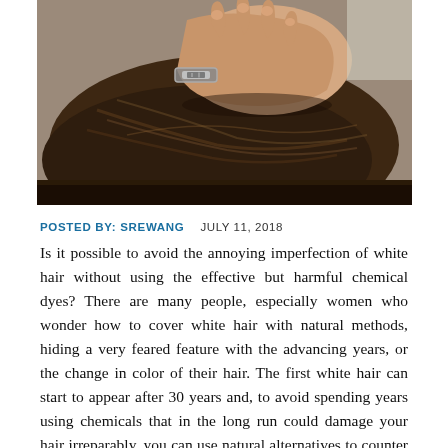[Figure (photo): Close-up photo of a person with dark brown hair being touched/examined by a hand with a bracelet on the wrist, photographed from above.]
POSTED BY: SREWANG   JULY 11, 2018
Is it possible to avoid the annoying imperfection of white hair without using the effective but harmful chemical dyes? There are many people, especially women who wonder how to cover white hair with natural methods, hiding a very feared feature with the advancing years, or the change in color of their hair. The first white hair can start to appear after 30 years and, to avoid spending years using chemicals that in the long run could damage your hair irreparably, you can use natural alternatives to counter the graying. Although first of all it is good to delay its appearance.